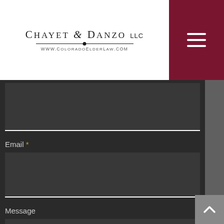[Figure (logo): Chayet & Danzo LLC law firm logo with website www.ColoradoElderLaw.com]
Email *
Message